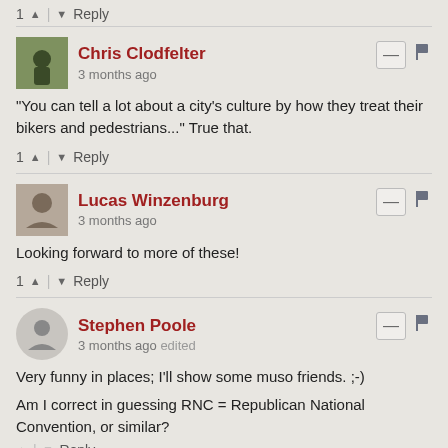1 ^ | v Reply
Chris Clodfelter
3 months ago
"You can tell a lot about a city's culture by how they treat their bikers and pedestrians..." True that.
1 ^ | v Reply
Lucas Winzenburg
3 months ago
Looking forward to more of these!
1 ^ | v Reply
Stephen Poole
3 months ago edited
Very funny in places; I'll show some muso friends. ;-)
Am I correct in guessing RNC = Republican National Convention, or similar?
^ | v Reply
Tyler Powers
3 months ago